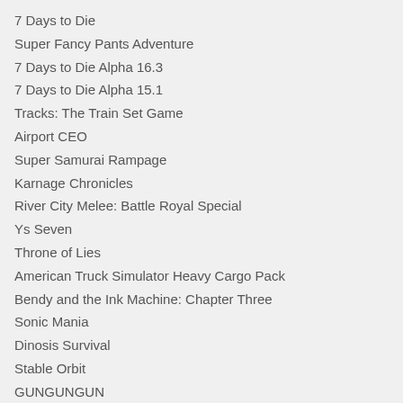7 Days to Die
Super Fancy Pants Adventure
7 Days to Die Alpha 16.3
7 Days to Die Alpha 15.1
Tracks: The Train Set Game
Airport CEO
Super Samurai Rampage
Karnage Chronicles
River City Melee: Battle Royal Special
Ys Seven
Throne of Lies
American Truck Simulator Heavy Cargo Pack
Bendy and the Ink Machine: Chapter Three
Sonic Mania
Dinosis Survival
Stable Orbit
GUNGUNGUN
My Time At Portia
Catacombs 1: Demon War
Aces of the Luftwaffe
Moto Racer 4
Train Valley